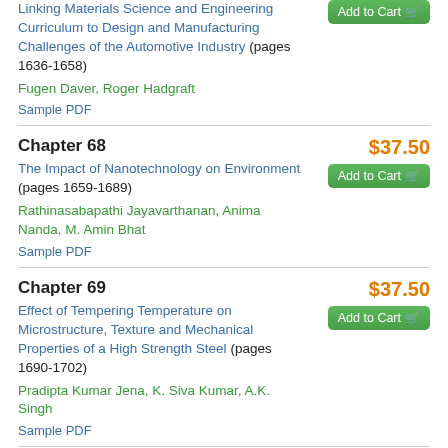Linking Materials Science and Engineering Curriculum to Design and Manufacturing Challenges of the Automotive Industry (pages 1636-1658)
Fugen Daver, Roger Hadgraft
Sample PDF
Chapter 68
$37.50
Add to Cart
The Impact of Nanotechnology on Environment (pages 1659-1689)
Rathinasabapathi Jayavarthanan, Anima Nanda, M. Amin Bhat
Sample PDF
Chapter 69
$37.50
Add to Cart
Effect of Tempering Temperature on Microstructure, Texture and Mechanical Properties of a High Strength Steel (pages 1690-1702)
Pradipta Kumar Jena, K. Siva Kumar, A.K. Singh
Sample PDF
Chapter 70
$37.50